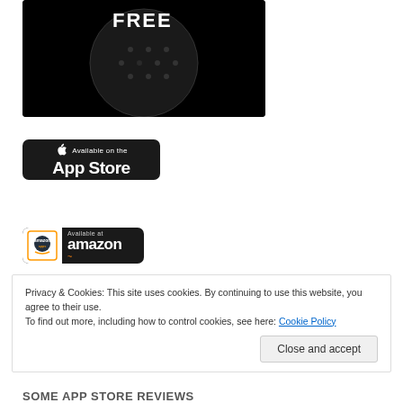[Figure (screenshot): Dark app screenshot showing partial 'FREE' text on black circular background]
[Figure (logo): Apple App Store download badge - black rounded rectangle with Apple logo and 'Available on the App Store' text]
[Figure (logo): Amazon Apps badge - black rounded rectangle with amazon apps logo and 'Available at amazon' text]
Privacy & Cookies: This site uses cookies. By continuing to use this website, you agree to their use.
To find out more, including how to control cookies, see here: Cookie Policy
Close and accept
SOME APP STORE REVIEWS